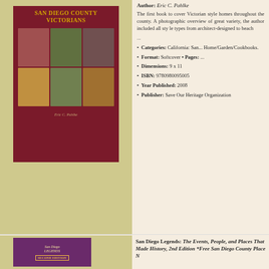[Figure (photo): Book cover of San Diego County Victorians by Eric C. Pahlke, showing a dark red cover with gold title text and a grid of 6 Victorian house photographs]
Author: Eric C. Pahlke
The first book to cover Victorian style homes throughout the county. A photographic overview of great variety, the author included all style types from architect-designed to beach ...
Categories: California; San... Home/Garden/Cookbooks.
Format: Softcover • Pages: ...
Dimensions: 9 x 11
ISBN: 9780980095005
Year Published: 2008
Publisher: Save Our Heritage Organization
[Figure (photo): Book cover of San Diego Legends: The Events, People, and Places That Made History, 2nd Edition, showing a purple cover with script and serif title text]
San Diego Legends: The Events, People, and Places That Made History, 2nd Edition *Free San Diego County Place N...